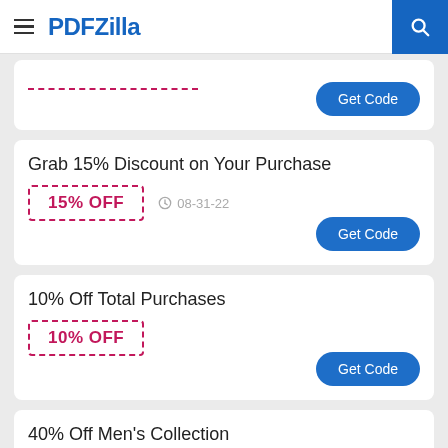PDFZilla
15% OFF  08-31-22  Get Code
Grab 15% Discount on Your Purchase
15% OFF  08-31-22  Get Code
10% Off Total Purchases
10% OFF  Get Code
40% Off Men's Collection
40% OFF